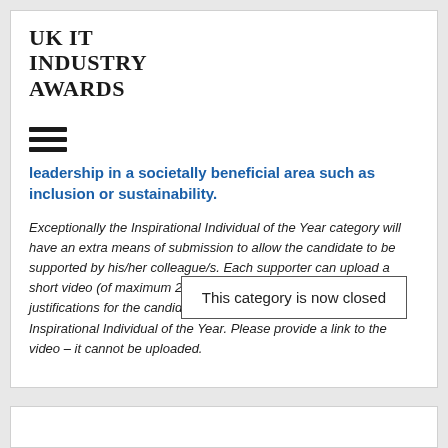[Figure (logo): UK IT INDUSTRY AWARDS logo in bold serif font]
[Figure (other): Hamburger menu icon with three horizontal lines]
leadership in a societally beneficial area such as inclusion or sustainability.
Exceptionally the Inspirational Individual of the Year category will have an extra means of submission to allow the candidate to be supported by his/her colleague/s. Each supporter can upload a short video (of maximum 2 minutes in length) giving their justifications for the candidate being awarded the title of Inspirational Individual of the Year. Please provide a link to the video – it cannot be uploaded.
This category is now closed